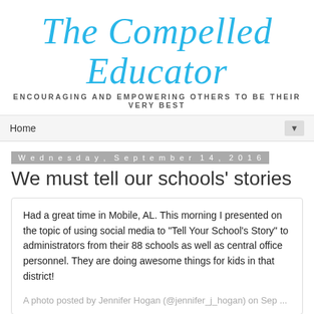The Compelled Educator
ENCOURAGING AND EMPOWERING OTHERS TO BE THEIR VERY BEST
Home
Wednesday, September 14, 2016
We must tell our schools' stories
Had a great time in Mobile, AL. This morning I presented on the topic of using social media to "Tell Your School's Story" to administrators from their 88 schools as well as central office personnel. They are doing awesome things for kids in that district!
A photo posted by Jennifer Hogan (@jennifer_j_hogan) on Sep ...
When I became a teacher, it was because I wanted to be a